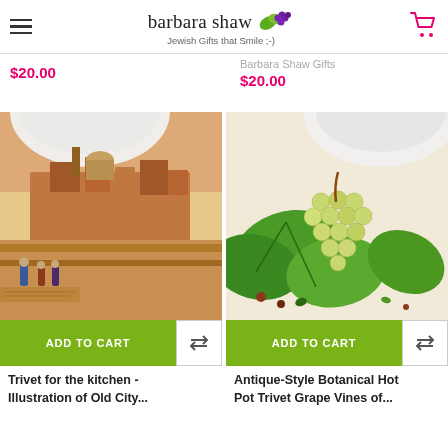barbara shaw Jewish Gifts that Smile ;-)
$20.00
Barbara Shaw Gifts
$20.00
[Figure (photo): Trivet tile featuring an antique illustration of Jerusalem Old City, with figures in foreground and city on a hill, warm orange and brown tones. A white pot sits on top.]
[Figure (photo): Trivet tile with antique botanical illustration of grape vines with green leaves and clusters of green grapes. A white pot sits on top.]
ADD TO CART
ADD TO CART
Trivet for the kitchen - Illustration of Old City...
Antique-Style Botanical Hot Pot Trivet Grape Vines of...